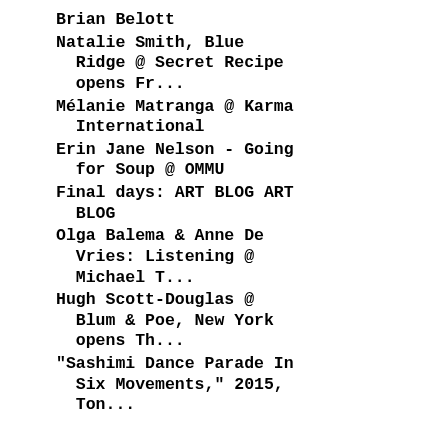Brian Belott
Natalie Smith, Blue Ridge @ Secret Recipe opens Fr...
Mélanie Matranga @ Karma International
Erin Jane Nelson - Going for Soup @ OMMU
Final days: ART BLOG ART BLOG
Olga Balema & Anne De Vries: Listening @ Michael T...
Hugh Scott-Douglas @ Blum & Poe, New York opens Th...
"Sashimi Dance Parade In Six Movements," 2015, Ton...